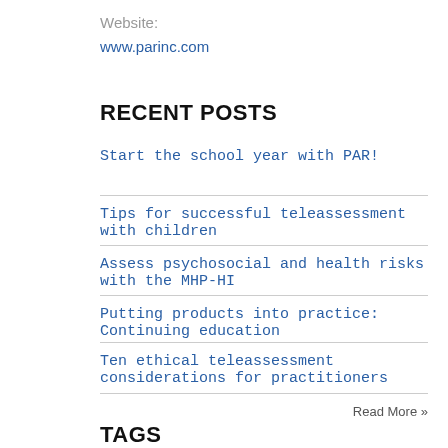Website:
www.parinc.com
RECENT POSTS
Start the school year with PAR!
Tips for successful teleassessment with children
Assess psychosocial and health risks with the MHP-HI
Putting products into practice: Continuing education
Ten ethical teleassessment considerations for practitioners
Read More »
TAGS
online   assessment   AAB   alzheimer’s   APA   assessment   authors   autism   BRIEFF